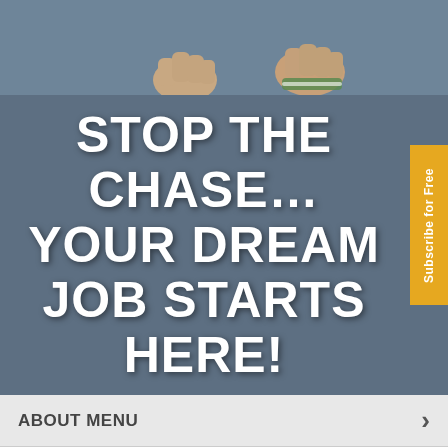[Figure (photo): Partial photo showing two hands/fists from above against a blue-grey background]
STOP THE CHASE… YOUR DREAM JOB STARTS HERE!
Subscribe for Free
ABOUT MENU
EMPLOYMENT OPPORTUNITIES
REASONS YOU'LL LOVE A BANKING